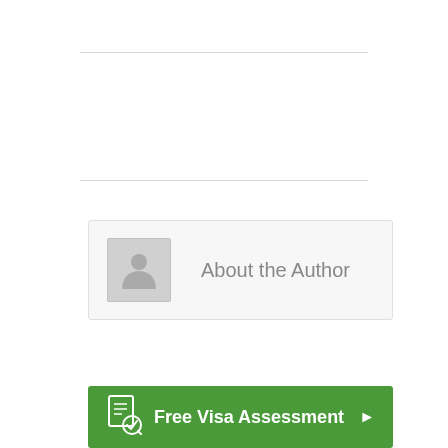[Figure (illustration): Author box with generic person avatar icon and text 'About the Author']
[Figure (illustration): Two small gray placeholder squares side by side]
[Figure (infographic): Green CTA button with visa document icon, text 'Free Visa Assessment' and a right-pointing arrow]